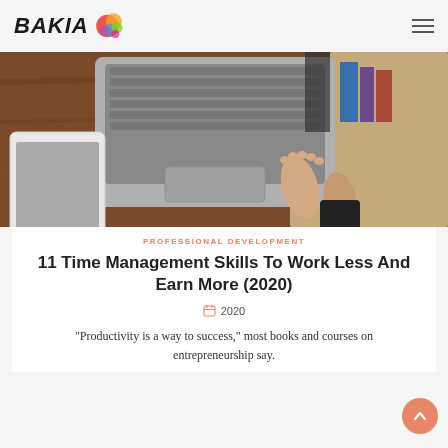BAHIA [logo with colorful bubble]
[Figure (photo): Overhead photo of a person's bare feet near a laptop on a wooden desk, with a tablet and books also visible, on a wooden and carpet surface.]
PROFESSIONAL DEVELOPMENT
11 Time Management Skills To Work Less And Earn More (2020)
2020
“Productivity is a way to success,” most books and courses on entrepreneurship say.